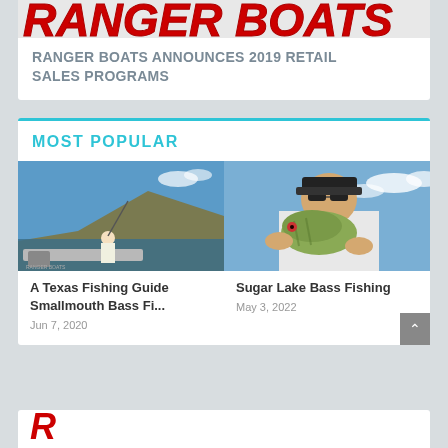[Figure (logo): Ranger Boats logo banner in red with large stylized text, partially cropped at top]
RANGER BOATS ANNOUNCES 2019 RETAIL SALES PROGRAMS
MOST POPULAR
[Figure (photo): Person standing on a fishing boat on a lake with rocky hillside in background, holding a fishing rod]
[Figure (photo): Man in sunglasses and white long-sleeve shirt holding up a large largemouth bass, blue sky background]
A Texas Fishing Guide Smallmouth Bass Fi...
Jun 7, 2020
Sugar Lake Bass Fishing
May 3, 2022
[Figure (logo): Partial Ranger Boats red logo visible at bottom of page, cropped]